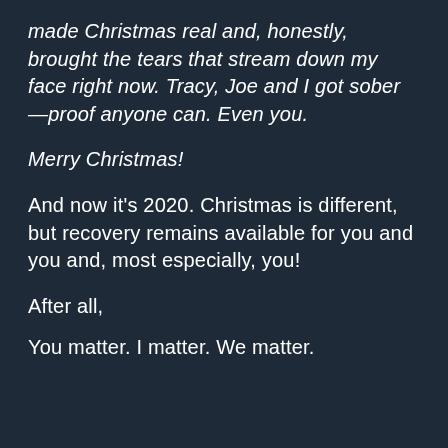made Christmas real and, honestly, brought the tears that stream down my face right now. Tracy, Joe and I got sober—proof anyone can. Even you.
Merry Christmas!
And now it's 2020. Christmas is different, but recovery remains available for you and you and, most especially, you!
After all,
You matter. I matter. We matter.